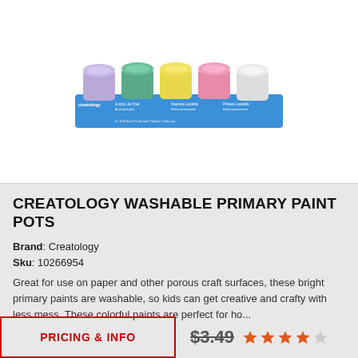[Figure (photo): Product photo of Creatology Washable Primary Paint Pots — a row of small paint jars in lavender, teal, yellow, red/pink, and white colors on a blue product packaging strip with text labels.]
CREATOLOGY WASHABLE PRIMARY PAINT POTS
Brand: Creatology
Sku: 10266954
Great for use on paper and other porous craft surfaces, these bright primary paints are washable, so kids can get creative and crafty with less mess. These colorful paints are perfect for ho...
PRICING & INFO
$3.49